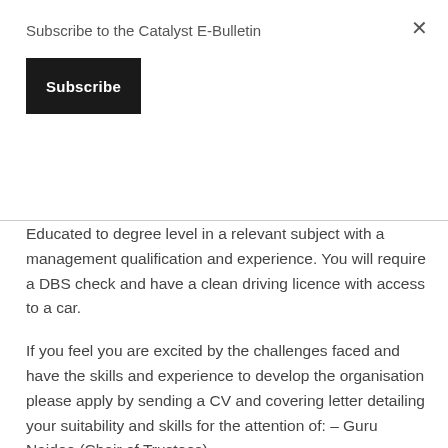Subscribe to the Catalyst E-Bulletin
Subscribe
Educated to degree level in a relevant subject with a management qualification and experience. You will require a DBS check and have a clean driving licence with access to a car.
If you feel you are excited by the challenges faced and have the skills and experience to develop the organisation please apply by sending a CV and covering letter detailing your suitability and skills for the attention of: – Guru Naidoo (Chair of Trustees)
Please note that applications can only be considered if all the documentation is complete. Please send your